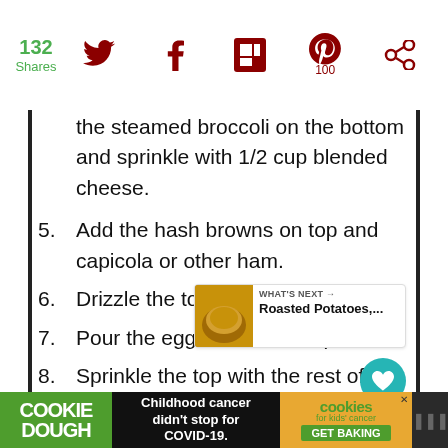132 Shares | Social share icons (Twitter, Facebook, Flipboard, Pinterest 100, other)
the steamed broccoli on the bottom and sprinkle with 1/2 cup blended cheese.
5. Add the hash browns on top and capicola or other ham.
6. Drizzle the top with melted butter.
7. Pour the egg mixture on top.
8. Sprinkle the top with the rest of the cheese.
9. Bake at 350 preheated oven fo[r] minutes to an hour until the top gets
COOKIE DOUGH | Childhood cancer didn't stop for COVID-19. | cookies for kids' cancer GET BAKING